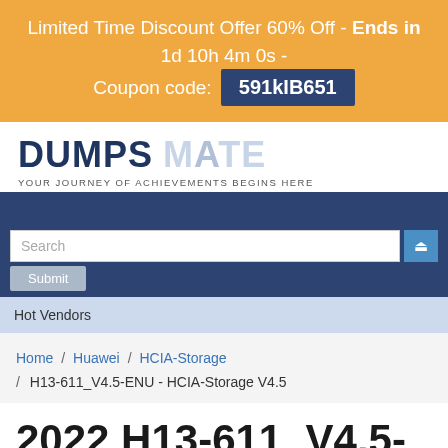Limited Time Discount Offer 60% Off - Ends in 1d 10h 4m 0s - Coupon code: 591kIB651
[Figure (logo): DumpsMate logo with tagline YOUR JOURNEY OF ACHIEVEMENTS BEGINS HERE]
Search
Submit
Hot Vendors
Home / Huawei / HCIA-Storage / H13-611_V4.5-ENU - HCIA-Storage V4.5
2022 H13-611_V4.5-